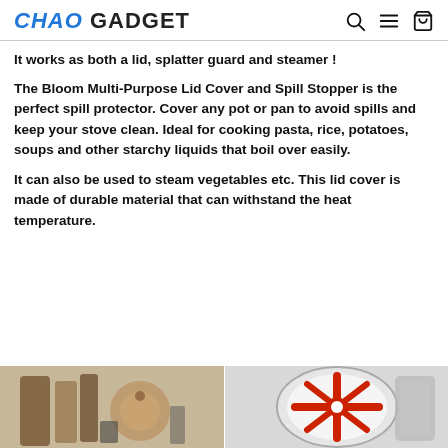CHAO GADGET
It works as both a lid, splatter guard and steamer !
The Bloom Multi-Purpose Lid Cover and Spill Stopper is the perfect spill protector. Cover any pot or pan to avoid spills and keep your stove clean. Ideal for cooking pasta, rice, potatoes, soups and other starchy liquids that boil over easily.
It can also be used to steam vegetables etc. This lid cover is made of durable material that can withstand the heat temperature.
[Figure (photo): Two photos side by side showing kitchen items: left shows wooden utensils and a round wooden lid holder; right shows a red silicone lid cover on a pot.]